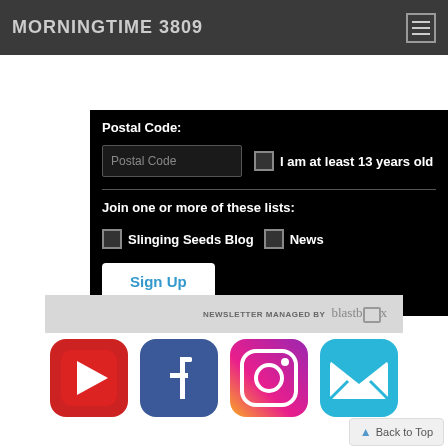MORNINGTIME 3809
Postal Code:
Postal Code (input field) | I am at least 13 years old (checkbox)
Join one or more of these lists:
Slinging Seeds Blog (checkbox) | News (checkbox)
Sign Up
NEWSLETTER MANAGED BY blastbox
[Figure (logo): Social media icons: YouTube, Facebook, Instagram, Email]
▲ Back to Top